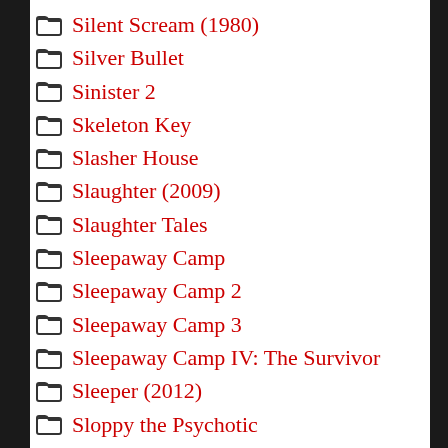Silent Scream (1980)
Silver Bullet
Sinister 2
Skeleton Key
Slasher House
Slaughter (2009)
Slaughter Tales
Sleepaway Camp
Sleepaway Camp 2
Sleepaway Camp 3
Sleepaway Camp IV: The Survivor
Sleeper (2012)
Sloppy the Psychotic
Slumber Party Massacre
Slumber Party Massacre II
Slumber Party Massacre III